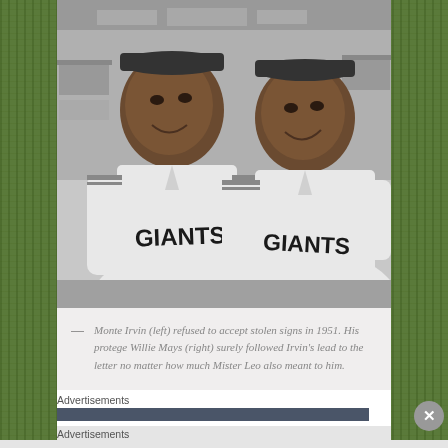[Figure (photo): Black and white photograph of two men wearing New York Giants baseball uniforms, smiling. The man on the left is Monte Irvin and the man on the right is Willie Mays.]
Monte Irvin (left) refused to accept stolen signs in 1951. His protege Willie Mays (right) surely followed Irvin's lead to the letter no matter how much Mister Leo also meant to him.
Advertisements
Advertisements